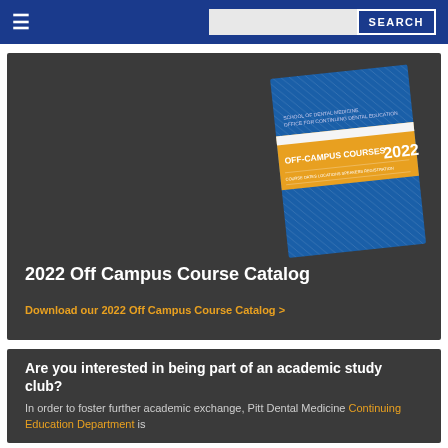≡  [search bar]  SEARCH
[Figure (illustration): Dark card showing a 2022 Off Campus Course Catalog booklet cover with blue cover and gold/orange banner reading OFF-CAMPUS COURSES 2022]
2022 Off Campus Course Catalog
Download our 2022 Off Campus Course Catalog >
Are you interested in being part of an academic study club?
In order to foster further academic exchange, Pitt Dental Medicine Continuing Education Department is